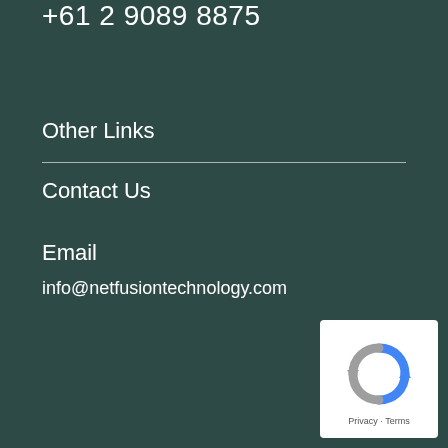+61 2 9089 8875
Other Links
Contact Us
Email
info@netfusiontechnology.com
[Figure (logo): reCAPTCHA badge with circular arrow icon and Privacy - Terms text]